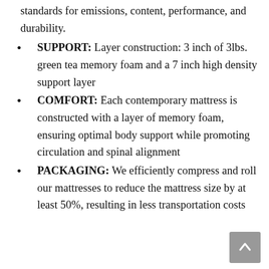standards for emissions, content, performance, and durability.
SUPPORT: Layer construction: 3 inch of 3lbs. green tea memory foam and a 7 inch high density support layer
COMFORT: Each contemporary mattress is constructed with a layer of memory foam, ensuring optimal body support while promoting circulation and spinal alignment
PACKAGING: We efficiently compress and roll our mattresses to reduce the mattress size by at least 50%, resulting in less transportation costs